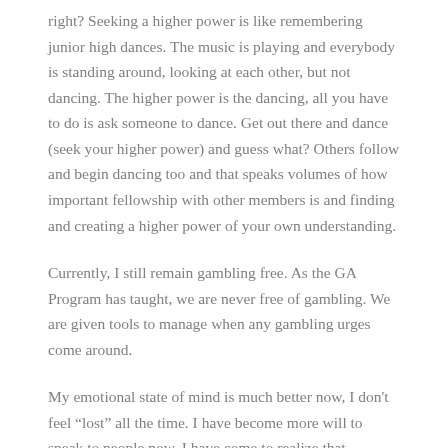right? Seeking a higher power is like remembering junior high dances. The music is playing and everybody is standing around, looking at each other, but not dancing. The higher power is the dancing, all you have to do is ask someone to dance. Get out there and dance (seek your higher power) and guess what? Others follow and begin dancing too and that speaks volumes of how important fellowship with other members is and finding and creating a higher power of your own understanding.
Currently, I still remain gambling free. As the GA Program has taught, we are never free of gambling. We are given tools to manage when any gambling urges come around.
My emotional state of mind is much better now, I don't feel “lost” all the time. I have become more will to speak to people now. I have come to realize that everyone on this earth has their own set of